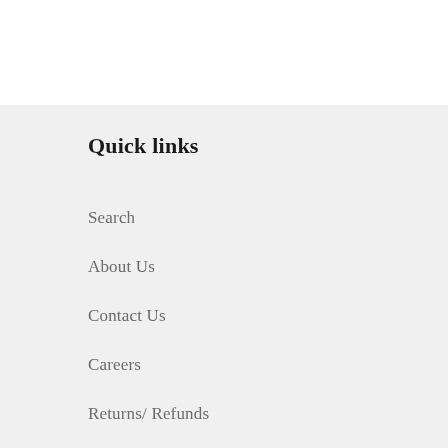Quick links
Search
About Us
Contact Us
Careers
Returns/ Refunds
Order Status
Privacy Policy